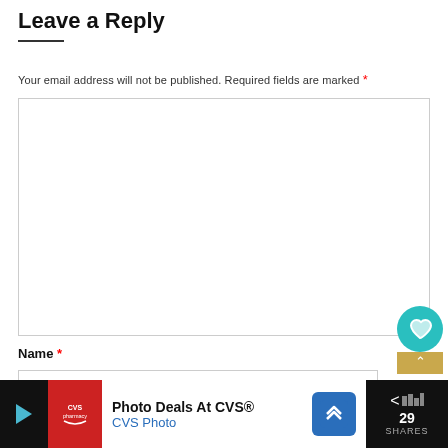Leave a Reply
Your email address will not be published. Required fields are marked *
Name *
Email *
[Figure (screenshot): CVS Photo advertisement bar at bottom of page: 'Photo Deals At CVS® CVS Photo' with play button, CVS pharmacy logo, and navigation arrow icon]
[Figure (infographic): Floating social widget on right side showing heart/like button (teal circle), bookmark with chevron up, count '1', and share button]